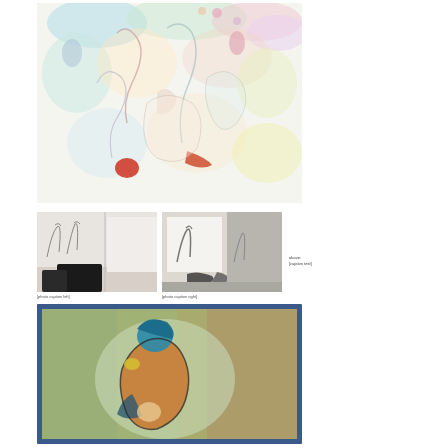[Figure (illustration): Large abstract painting with pastel colors — light blues, greens, pinks, yellows — depicting loosely rendered figures and organic shapes on a white background. A red/orange oval shape is visible near the center-bottom area.]
[Figure (photo): Black and white photograph of a studio or gallery space with a large drawing/sketch of figures visible on the wall, and dark draped forms in the foreground.]
[Figure (photo): Black and white photograph of a studio or gallery space showing a large sketch/drawing on the wall with figures, installation view.]
above: [caption text, very small, partially illegible]
[Figure (illustration): Colorful painting with a blue border/frame showing an abstract figurative composition. A hunched figure rendered in blues, oranges, and greens against a speckled green and brown background. The figure appears to cradle something.]